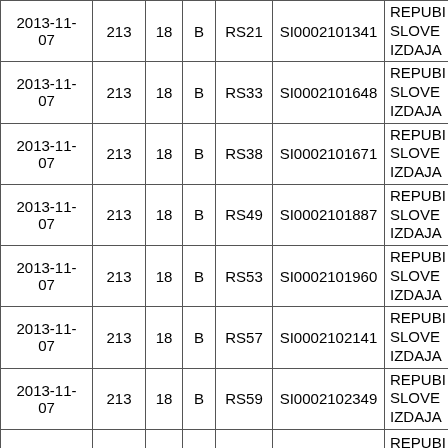| Date |  |  |  |  | ISIN | Issuer |
| --- | --- | --- | --- | --- | --- | --- |
| 2013-11-07 | 213 | 18 | B | RS21 | SI0002101341 | REPUBI SLOVE IZDAJA |
| 2013-11-07 | 213 | 18 | B | RS33 | SI0002101648 | REPUBI SLOVE IZDAJA |
| 2013-11-07 | 213 | 18 | B | RS38 | SI0002101671 | REPUBI SLOVE IZDAJA |
| 2013-11-07 | 213 | 18 | B | RS49 | SI0002101887 | REPUBI SLOVE IZDAJA |
| 2013-11-07 | 213 | 18 | B | RS53 | SI0002101960 | REPUBI SLOVE IZDAJA |
| 2013-11-07 | 213 | 18 | B | RS57 | SI0002102141 | REPUBI SLOVE IZDAJA |
| 2013-11-07 | 213 | 18 | B | RS59 | SI0002102349 | REPUBI SLOVE IZDAJA |
|  |  |  |  |  |  | REPUBI |